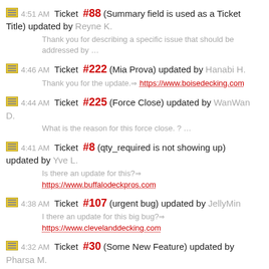4:51 AM Ticket #88 (Summary field is used as a Ticket Title) updated by Reyne K. — Thank you for describing a specific issue that should be addressed by …
4:46 AM Ticket #222 (Mia Prova) updated by Hanabi H. — Thank you for the update. ⇒ https://www.boisedecking.com
4:44 AM Ticket #225 (Force Close) updated by WanWan D. — What is the reason for this force close. ? …
4:41 AM Ticket #8 (qty_required is not showing up) updated by Yve L. — Is there an update for this? ⇒ https://www.buffalodeckpros.com
4:38 AM Ticket #107 (urgent bug) updated by JellyMin — I there an update for this big bug? ⇒ https://www.clevelanddecking.com
4:32 AM Ticket #30 (Some New Feature) updated by Pharsa M.